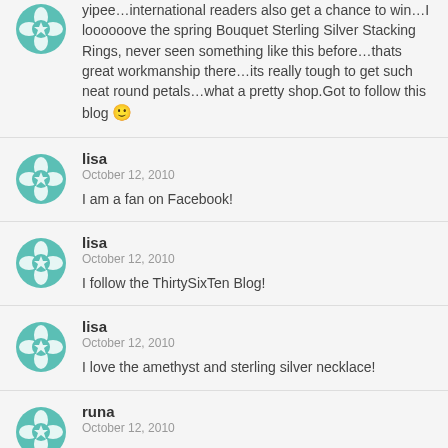yipee…international readers also get a chance to win…I loooooove the spring Bouquet Sterling Silver Stacking Rings, never seen something like this before…thats great workmanship there…its really tough to get such neat round petals…what a pretty shop.Got to follow this blog 🙂
lisa
October 12, 2010
I am a fan on Facebook!
lisa
October 12, 2010
I follow the ThirtySixTen Blog!
lisa
October 12, 2010
I love the amethyst and sterling silver necklace!
runa
October 12, 2010